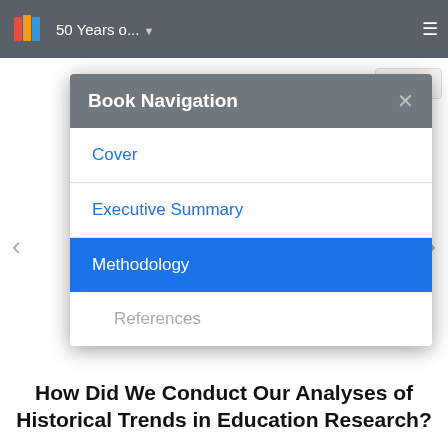50 Years o...
[Figure (screenshot): Book Navigation modal dialog showing menu items: Cover, Executive Summary, Methodology (currently selected/highlighted in blue), References]
How Did We Conduct Our Analyses of Historical Trends in Education Research?